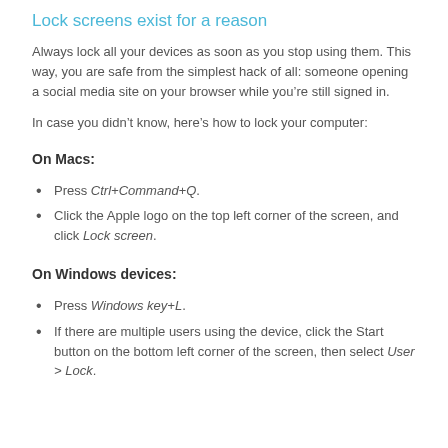Lock screens exist for a reason
Always lock all your devices as soon as you stop using them. This way, you are safe from the simplest hack of all: someone opening a social media site on your browser while you’re still signed in.
In case you didn’t know, here’s how to lock your computer:
On Macs:
Press Ctrl+Command+Q.
Click the Apple logo on the top left corner of the screen, and click Lock screen.
On Windows devices:
Press Windows key+L.
If there are multiple users using the device, click the Start button on the bottom left corner of the screen, then select User > Lock.